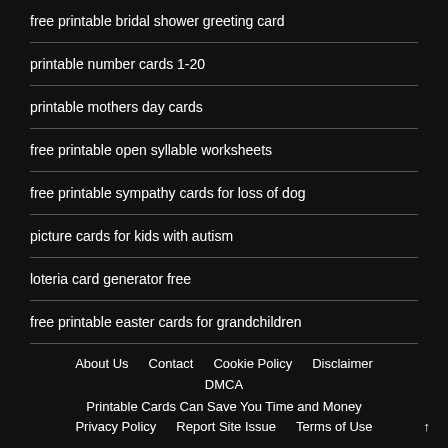free printable bridal shower greeting card
printable number cards 1-20
printable mothers day cards
free printable open syllable worksheets
free printable sympathy cards for loss of dog
picture cards for kids with autism
loteria card generator free
free printable easter cards for grandchildren
About Us  Contact  Cookie Policy  Disclaimer  DMCA  Printable Cards Can Save You Time and Money  Privacy Policy  Report Site Issue  Terms of Use